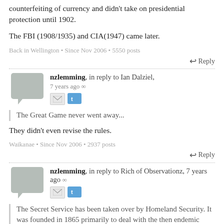counterfeiting of currency and didn't take on presidential protection until 1902.
The FBI (1908/1935) and CIA(1947) came later.
Back in Wellington • Since Nov 2006 • 5550 posts
↩ Reply
nzlemming, in reply to Ian Dalziel, 7 years ago ∞
The Great Game never went away...
They didn't even revise the rules.
Waikanae • Since Nov 2006 • 2937 posts
↩ Reply
nzlemming, in reply to Rich of Observationz, 7 years ago ∞
The Secret Service has been taken over by Homeland Security. It was founded in 1865 primarily to deal with the then endemic